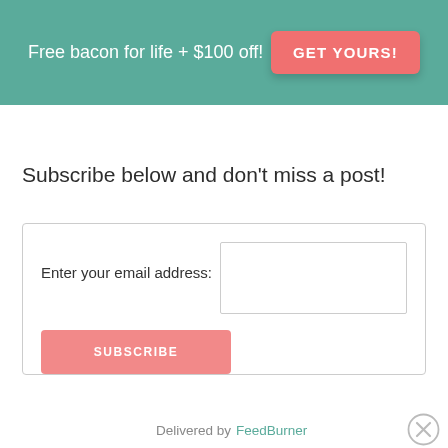Free bacon for life + $100 off!
GET YOURS!
Subscribe below and don't miss a post!
Enter your email address:
SUBSCRIBE
Delivered by FeedBurner